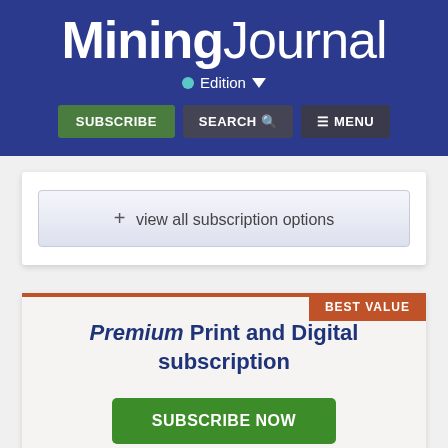[Figure (logo): Mining Journal logo with bold 'Mining' and regular weight 'Journal' in white on dark blue background]
Edition
SUBSCRIBE   SEARCH   MENU
+ view all subscription options
BEST VALUE
Premium Print and Digital subscription
SUBSCRIBE NOW